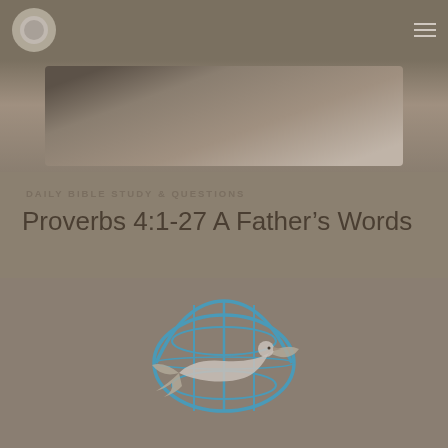[Figure (photo): Photograph of hands writing, shown from above, muted brownish-gray tones]
DAILY BIBLE STUDY & QUESTIONS
Proverbs 4:1-27 A Father's Words
[Figure (logo): Organization logo: a globe with lines overlaid by a dove in flight, in blue and gray tones, on a muted taupe background]